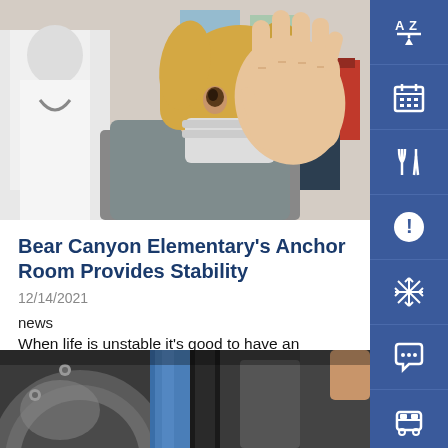[Figure (photo): A young girl wearing a face mask holding her hand up toward the camera in a stop gesture, appearing to be in a school or medical setting.]
Bear Canyon Elementary's Anchor Room Provides Stability
12/14/2021
news
When life is unstable it's good to have an anchor. At Bear Canyon Elementary, there's a room for that.
Read More
[Figure (photo): Close-up of mechanical or industrial equipment, appears to show a blue cylindrical part being worked on near a wheel or drum.]